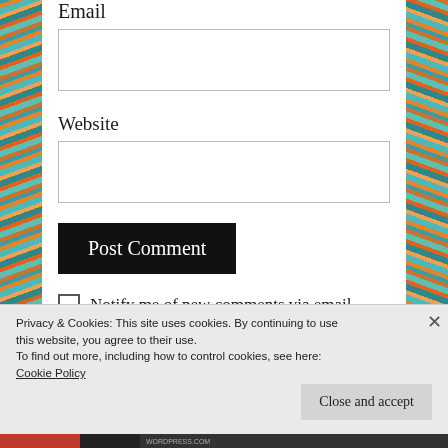Email
Website
Post Comment
Notify me of new comments via email.
Privacy & Cookies: This site uses cookies. By continuing to use this website, you agree to their use.
To find out more, including how to control cookies, see here:
Cookie Policy
Close and accept